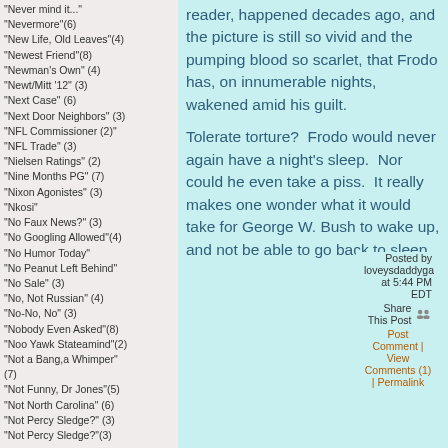"Never mind it..."
"Nevermore"(6)
"New Life, Old Leaves"(4)
"Newest Friend"(8)
"Newman's Own" (4)
"Newt/Mitt '12" (3)
"Next Case" (6)
"Next Door Neighbors" (3)
"NFL Commissioner (2)"
"NFL Trade" (3)
"Nielsen Ratings" (2)
"Nine Months PG" (7)
"Nixon Agonistes" (3)
"Nkosi"
"No Faux News?" (3)
"No Googling Allowed"(4)
"No Humor Today"
"No Peanut Left Behind"
"No Sale" (3)
"No, Not Russian" (4)
"No-No, No" (3)
"Nobody Even Asked"(8)
"Noo Yawk Stateamind"(2)
"Not a Bang,a Whimper" (7)
"Not Funny, Dr Jones"(5)
"Not North Carolina" (6)
"Not Percy Sledge?" (3)
"Not Percy Sledge?"(3)
reader, happened decades ago, and the picture is still so vivid and the pumping blood so scarlet, that Frodo has, on innumerable nights, wakened amid his guilt.

Tolerate torture?  Frodo would never again have a night's sleep.  Nor could he even take a piss.  It really makes one wonder what it would take for George W. Bush to wake up, and not be able to go back to sleep.
Posted by loveysdaddyga at 5:44 PM EDT
Share This Post
Post Comment | View Comments (1) | Permalink